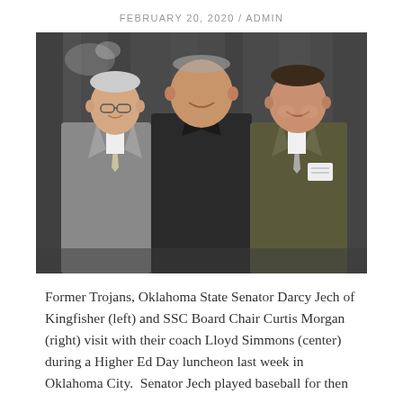FEBRUARY 20, 2020 / ADMIN
[Figure (photo): Three men in suits posing together indoors against a dark draped backdrop. The man on the left wears a grey suit with a light tie, the man in the center wears an all-black suit, and the man on the right wears a dark suit with a patterned tie and a name badge.]
Former Trojans, Oklahoma State Senator Darcy Jech of Kingfisher (left) and SSC Board Chair Curtis Morgan (right) visit with their coach Lloyd Simmons (center) during a Higher Ed Day luncheon last week in Oklahoma City.  Senator Jech played baseball for then